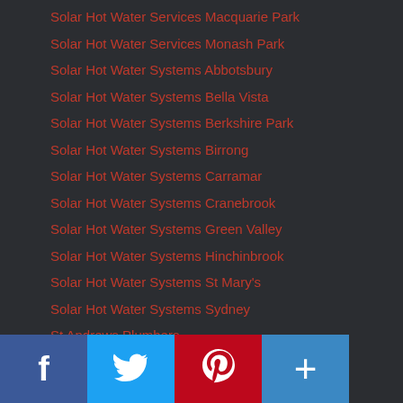Solar Hot Water Services Macquarie Park
Solar Hot Water Services Monash Park
Solar Hot Water Systems Abbotsbury
Solar Hot Water Systems Bella Vista
Solar Hot Water Systems Berkshire Park
Solar Hot Water Systems Birrong
Solar Hot Water Systems Carramar
Solar Hot Water Systems Cranebrook
Solar Hot Water Systems Green Valley
Solar Hot Water Systems Hinchinbrook
Solar Hot Water Systems St Mary's
Solar Hot Water Systems Sydney
St Andrews Plumbers
St Clair Plumbers
St George Hot Water Experts
St George Plumbers
St Johns Park Plumbers
St Mary's Plumbers
St Marys Plumbers
[Figure (other): Social sharing buttons bar: Facebook (blue), Twitter (light blue), Pinterest (red), Add/Plus (medium blue)]